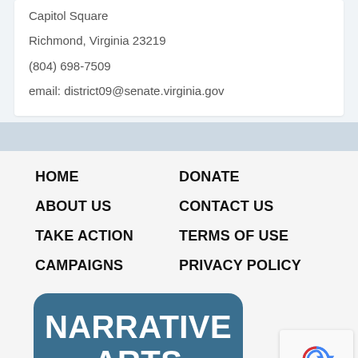Capitol Square
Richmond, Virginia 23219
(804) 698-7509
email: district09@senate.virginia.gov
HOME
ABOUT US
TAKE ACTION
CAMPAIGNS
DONATE
CONTACT US
TERMS OF USE
PRIVACY POLICY
[Figure (logo): Narrative Arts logo — rounded rectangle with speech-bubble tail, teal/blue background, white bold text reading NARRATIVE ARTS]